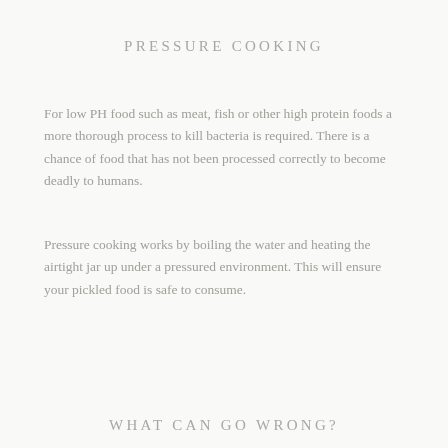PRESSURE COOKING
For low PH food such as meat, fish or other high protein foods a more thorough process to kill bacteria is required. There is a chance of food that has not been processed correctly to become deadly to humans.
Pressure cooking works by boiling the water and heating the airtight jar up under a pressured environment. This will ensure your pickled food is safe to consume.
WHAT CAN GO WRONG?